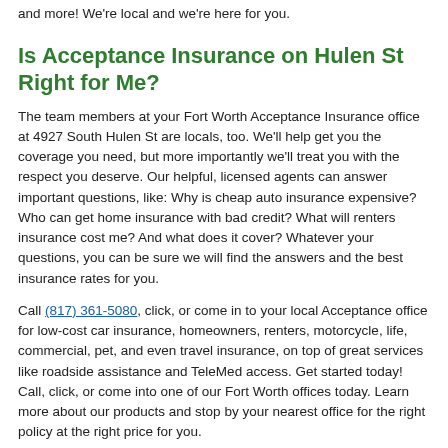and more! We're local and we're here for you.
Is Acceptance Insurance on Hulen St Right for Me?
The team members at your Fort Worth Acceptance Insurance office at 4927 South Hulen St are locals, too. We'll help get you the coverage you need, but more importantly we'll treat you with the respect you deserve. Our helpful, licensed agents can answer important questions, like: Why is cheap auto insurance expensive? Who can get home insurance with bad credit? What will renters insurance cost me? And what does it cover? Whatever your questions, you can be sure we will find the answers and the best insurance rates for you.
Call (817) 361-5080, click, or come in to your local Acceptance office for low-cost car insurance, homeowners, renters, motorcycle, life, commercial, pet, and even travel insurance, on top of great services like roadside assistance and TeleMed access. Get started today! Call, click, or come into one of our Fort Worth offices today. Learn more about our products and stop by your nearest office for the right policy at the right price for you.